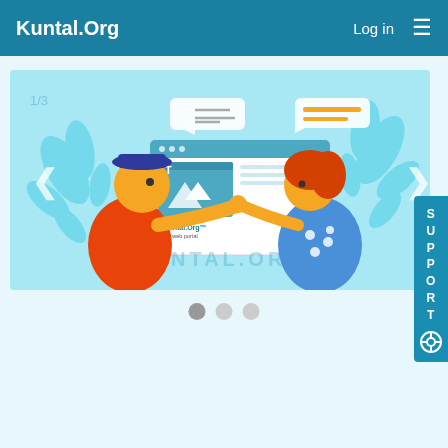Kuntal.Org — Log in — Menu
[Figure (screenshot): Website screenshot showing Kuntal.Org web portal homepage with a banner/slider image of two illustrated people interacting with a web portal interface, with speech bubbles and leaf decorations on a light blue background. KUNTAL.ORG watermark visible. Navigation arrows on left and right sides.]
[Figure (other): Carousel pagination dots: one dark grey (active), two light grey (inactive)]
[Figure (other): SUPPORT tab on right side with lifesaver icon]